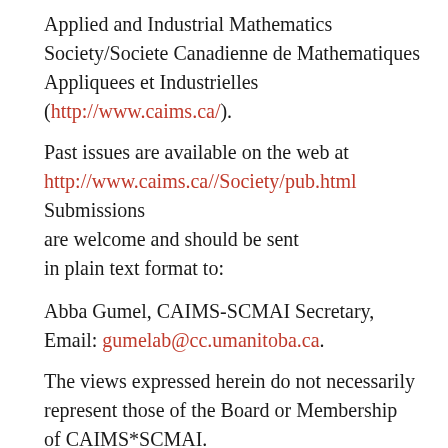Applied and Industrial Mathematics Society/Societe Canadienne de Mathematiques Appliquees et Industrielles (http://www.caims.ca/).
Past issues are available on the web at http://www.caims.ca//Society/pub.html Submissions are welcome and should be sent in plain text format to:
Abba Gumel, CAIMS-SCMAI Secretary, Email: gumelab@cc.umanitoba.ca.
The views expressed herein do not necessarily represent those of the Board or Membership of CAIMS*SCMAI.
The editor is in charge of this publication to...